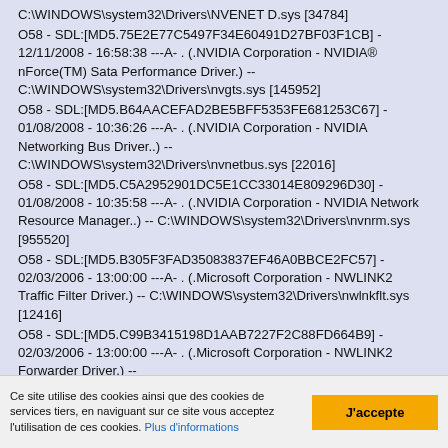C:\WINDOWS\system32\Drivers\NVENET D.sys [34784] O58 - SDL:[MD5.75E2E77C5497F34E60491D27BF03F1CB] - 12/11/2008 - 16:58:38 ---A- . (.NVIDIA Corporation - NVIDIA® nForce(TM) Sata Performance Driver.) -- C:\WINDOWS\system32\Drivers\nvgts.sys [145952] O58 - SDL:[MD5.B64AACEFAD2BE5BFF5353FE681253C67] - 01/08/2008 - 10:36:26 ---A- . (.NVIDIA Corporation - NVIDIA Networking Bus Driver..) -- C:\WINDOWS\system32\Drivers\nvnetbus.sys [22016] O58 - SDL:[MD5.C5A2952901DC5E1CC33014E809296D30] - 01/08/2008 - 10:35:58 ---A- . (.NVIDIA Corporation - NVIDIA Network Resource Manager..) -- C:\WINDOWS\system32\Drivers\nvnrm.sys [955520] O58 - SDL:[MD5.B305F3FAD35083837EF46A0BBCE2FC57] - 02/03/2006 - 13:00:00 ---A- . (.Microsoft Corporation - NWLINK2 Traffic Filter Driver.) -- C:\WINDOWS\system32\Drivers\nwlnkflt.sys [12416] O58 - SDL:[MD5.C99B3415198D1AAB7227F2C88FD664B9] - 02/03/2006 - 13:00:00 ---A- . (.Microsoft Corporation - NWLINK2 Forwarder Driver.) --
Ce site utilise des cookies ainsi que des cookies de services tiers, en naviguant sur ce site vous acceptez l'utilisation de ces cookies. Plus d'informations
J'accepte